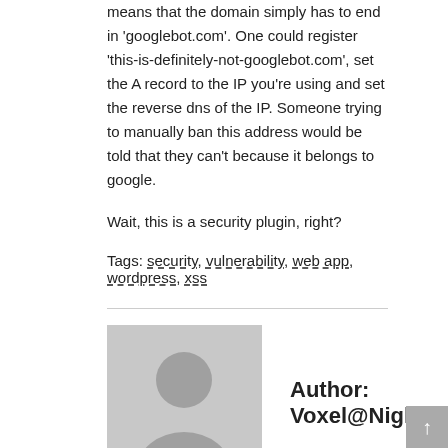means that the domain simply has to end in 'googlebot.com'. One could register 'this-is-definitely-not-googlebot.com', set the A record to the IP you're using and set the reverse dns of the IP. Someone trying to manually ban this address would be told that they can't because it belongs to google.
Wait, this is a security plugin, right?
Tags: security, vulnerability, web app, wordpress, xss
[Figure (illustration): Generic author avatar — grey placeholder silhouette of a person]
Author: Voxel@Night
← WordPress Plugin Vulnerability Dump – Part 2
Let's Go to Fry's! →